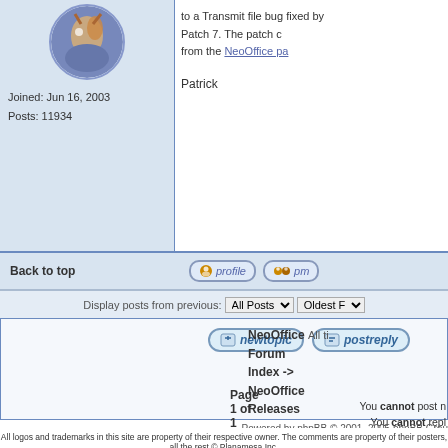[Figure (illustration): Forum user avatar - circular illustration of a character]
Joined: Jun 16, 2003
Posts: 11934
to a Transmit file bug fixed by Patch 7. The patch c from the NeoOffice pa
Patrick
Back to top
profile   pm
Display posts from previous: All Posts  Oldest F
NeoOffice Forum Index -> NeoOffice Releases
Page 1 of 1
You cannot post n
You cannot repl
You cannot edit y
You cannot delete y
You cannot vo
You cannot a
You cannot dow
Powered by phpBB © 2001, 2005 phpBB Grou
All logos and trademarks in this site are property of their respective owner. The comments are property of their posters, all the rest © Planamesa Inc.
NeoOffice is a registered trademark of Planamesa Inc. and may not be used without permission.
PHP-Nuke Copyright © 2005 by Francisco Burzi. This is free software, and you may redistribute it under the GPL. PHP-Nuke comes with absolutely no warranty, for details, see the license. Page Generation: 0.03 Seconds.